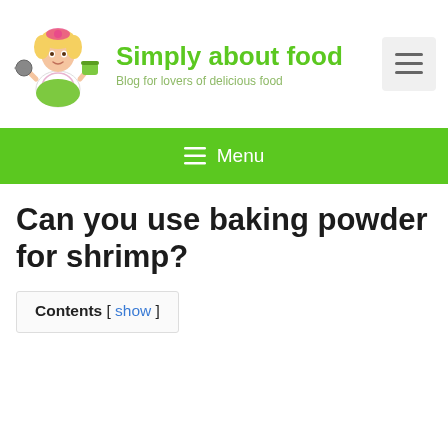[Figure (logo): Cartoon illustration of a blonde woman in an apron cooking, holding a frying pan and a pot, with a pink bow in her hair]
Simply about food
Blog for lovers of delicious food
[Figure (other): Hamburger menu button (three horizontal lines) in a light gray box]
≡ Menu
Can you use baking powder for shrimp?
Contents [ show ]